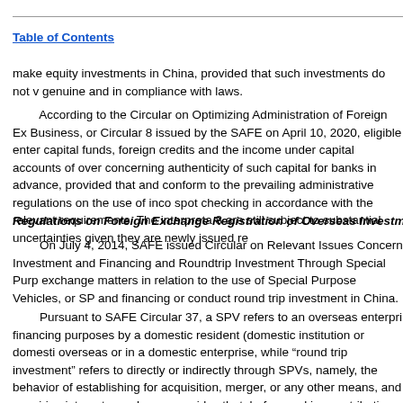Table of Contents
make equity investments in China, provided that such investments do not v genuine and in compliance with laws.
According to the Circular on Optimizing Administration of Foreign Ex Business, or Circular 8 issued by the SAFE on April 10, 2020, eligible enter capital funds, foreign credits and the income under capital accounts of over concerning authenticity of such capital for banks in advance, provided that and conform to the prevailing administrative regulations on the use of inco spot checking in accordance with the relevant requirements. The interpreta 8 are still subject to substantial uncertainties given they are newly issued re
Regulations on Foreign Exchange Registration of Overseas Investme
On July 4, 2014, SAFE issued Circular on Relevant Issues Concern Investment and Financing and Roundtrip Investment Through Special Purp exchange matters in relation to the use of Special Purpose Vehicles, or SP and financing or conduct round trip investment in China.
Pursuant to SAFE Circular 37, a SPV refers to an overseas enterpri financing purposes by a domestic resident (domestic institution or domesti overseas or in a domestic enterprise, while "round trip investment" refers to directly or indirectly through SPVs, namely, the behavior of establishing for acquisition, merger, or any other means, and acquiring interests, such as o provides that, before making contribution into an SPV, PRC residents are r